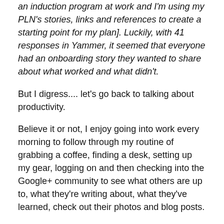an induction program at work and I'm using my PLN's stories, links and references to create a starting point for my plan]. Luckily, with 41 responses in Yammer, it seemed that everyone had an onboarding story they wanted to share about what worked and what didn't.
But I digress.... let's go back to talking about productivity.
Believe it or not, I enjoy going into work every morning to follow through my routine of grabbing a coffee, finding a desk, setting up my gear, logging on and then checking into the Google+ community to see what others are up to, what they're writing about, what they've learned, check out their photos and blog posts.
I've gotten myself into a morning routine where I revel in the silence of the office…just me alone with all my PLN.
I've been meaning this and that setting for all my done